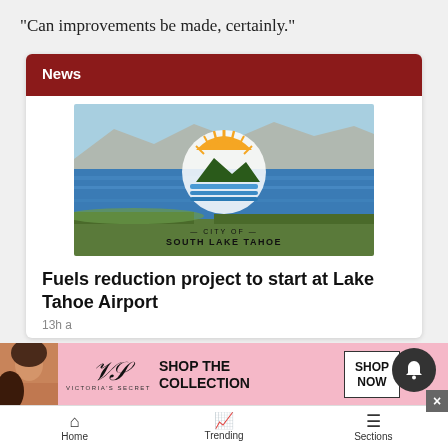“Can improvements be made, certainly.”
News
[Figure (photo): City of South Lake Tahoe logo overlaid on an aerial photograph of Lake Tahoe and surrounding landscape with mountains in the background.]
Fuels reduction project to start at Lake Tahoe Airport
13h a
[Figure (other): Victoria's Secret advertisement banner: woman model, VS logo, 'SHOP THE COLLECTION', and 'SHOP NOW' button.]
Home   Trending   Sections